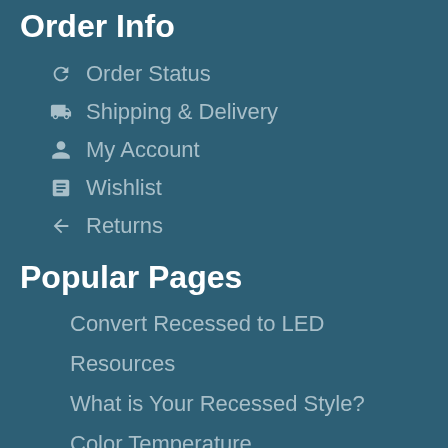Order Info
Order Status
Shipping & Delivery
My Account
Wishlist
Returns
Popular Pages
Convert Recessed to LED
Resources
What is Your Recessed Style?
Color Temperature
Beam Spread Chart
Our Blog